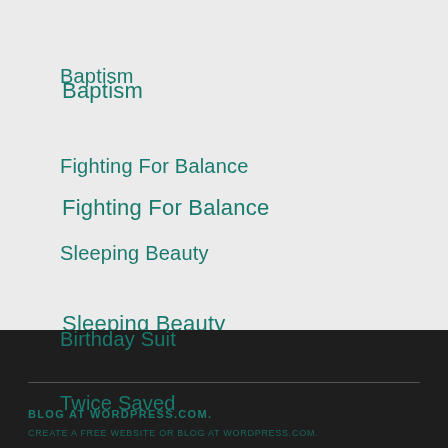Baptism
Fighting For Balance
Sleeping Beauty
Birthday Suit
Twice Saved
BLOG AT WORDPRESS.COM.